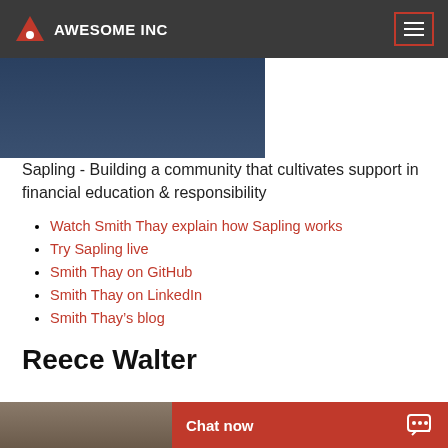AWESOME INC
[Figure (photo): Partial photo of a person in dark clothing, cropped at top]
Sapling - Building a community that cultivates support in financial education & responsibility
Watch Smith Thay explain how Sapling works
Try Sapling live
Smith Thay on GitHub
Smith Thay on LinkedIn
Smith Thay’s blog
Reece Walter
[Figure (photo): Photo of Reece Walter, partially visible at bottom of page]
Chat now